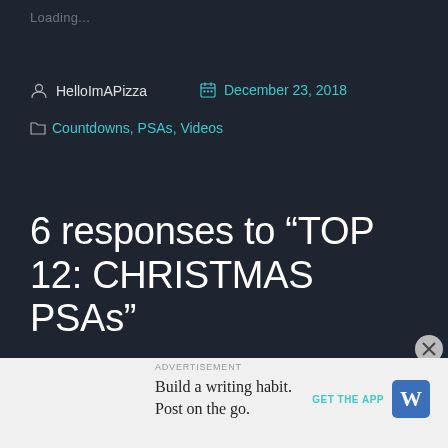Loading...
HelloImAPizza    December 23, 2018
Countdowns, PSAs, Videos
6 responses to “TOP 12: CHRISTMAS PSAs”
Build a writing habit. Post on the go.
GET THE APP